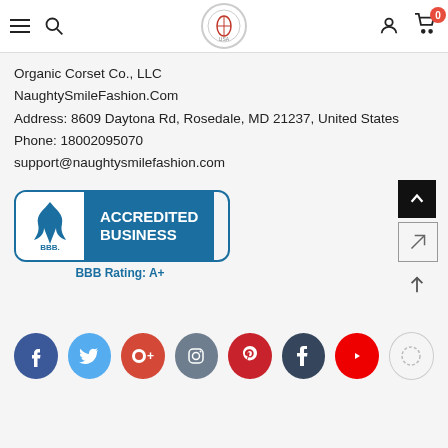Navigation bar with hamburger menu, search, logo, user icon, cart (0)
Organic Corset Co., LLC
NaughtySmileFashion.Com
Address: 8609 Daytona Rd, Rosedale, MD 21237, United States
Phone: 18002095070
support@naughtysmilefashion.com
[Figure (logo): BBB Accredited Business badge with BBB Rating: A+]
[Figure (infographic): Social media icons: Facebook, Twitter, Google+, Instagram, Pinterest, Tumblr, YouTube, and one ghost icon]